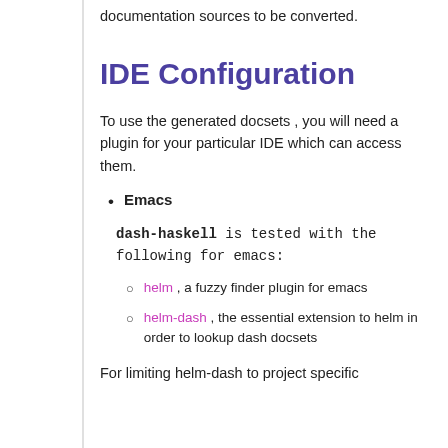documentation sources to be converted.
IDE Configuration
To use the generated docsets , you will need a plugin for your particular IDE which can access them.
Emacs
dash-haskell is tested with the following for emacs:
helm , a fuzzy finder plugin for emacs
helm-dash , the essential extension to helm in order to lookup dash docsets
For limiting helm-dash to project specific